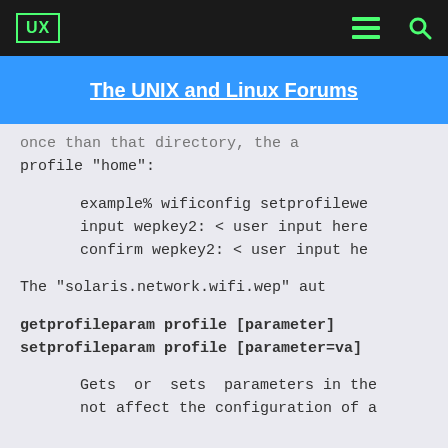UX  [menu] [search]
The UNIX and Linux Forums
once than that directory, the profile "home":

    example% wificonfig setprofilewe
    input wepkey2: < user input here
    confirm wepkey2: < user input he

    The "solaris.network.wifi.wep" aut

getprofileparam profile [parameter]
setprofileparam profile [parameter=va]

    Gets  or  sets  parameters in the
    not affect the configuration of a